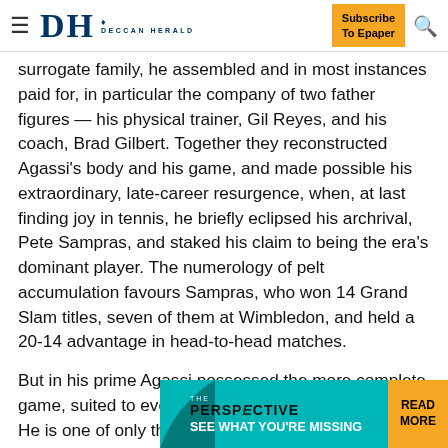DH DECCAN HERALD | Subscribe To Epaper
surrogate family, he assembled and in most instances paid for, in particular the company of two father figures — his physical trainer, Gil Reyes, and his coach, Brad Gilbert. Together they reconstructed Agassi's body and his game, and made possible his extraordinary, late-career resurgence, when, at last finding joy in tennis, he briefly eclipsed his archrival, Pete Sampras, and staked his claim to being the era's dominant player. The numerology of pelt accumulation favours Sampras, who won 14 Grand Slam titles, seven of them at Wimbledon, and held a 20-14 advantage in head-to-head matches.
But in his prime Agassi possessed the more complete game, suited to every surface (clay, grass, hardcourt). He is one of only three men in the open era, and the only American man,
[Figure (advertisement): The Perspective banner ad with teal background reading 'SEE WHAT YOU'RE MISSING' and 'READ MORE' in orange button]